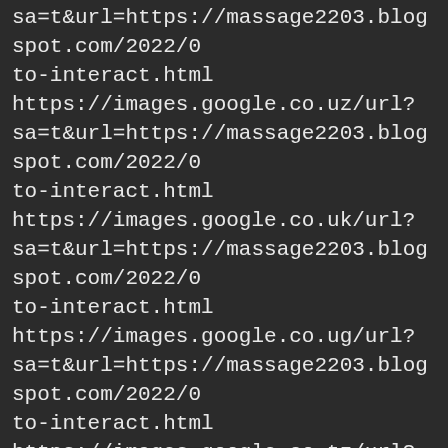https://imagesgooglecom/url?sa=t&url=https://massage2203.blogspot.com/2022/0to-interact.html
https://images.google.co.uz/url?sa=t&url=https://massage2203.blogspot.com/2022/0to-interact.html
https://images.google.co.uk/url?sa=t&url=https://massage2203.blogspot.com/2022/0to-interact.html
https://images.google.co.ug/url?sa=t&url=https://massage2203.blogspot.com/2022/0to-interact.html
https://images.google.co.tz/url?sa=t&url=https://massage2203.blogspot.com/2022/0to-interact.html
https://images.google.co.th/url?sa=t&url=https://massage2203.blogspot.com/2022/0to-interact.html